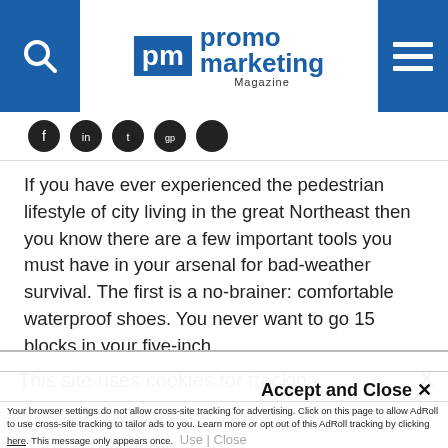[Figure (logo): Promo Marketing Magazine logo with blue header bar, search icon, and hamburger menu]
[Figure (other): Row of dark circular social media icon buttons]
If you have ever experienced the pedestrian lifestyle of city living in the great Northeast then you know there are a few important tools you must have in your arsenal for bad-weather survival. The first is a no-brainer: comfortable waterproof shoes. You never want to go 15 blocks in your five-inch
This site uses cookies for tracking purposes. By continuing to browse our website, you agree to the storing of first- and third-party cookies on your device to enhance site navigation, analyze site
usage, and assist in our marketing and
Accept and Close ✕
Your browser settings do not allow cross-site tracking for advertising. Click on this page to allow AdRoll to use cross-site tracking to tailor ads to you. Learn more or opt out of this AdRoll tracking by clicking here. This message only appears once.